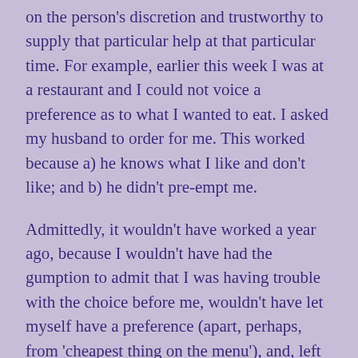on the person's discretion and trustworthy to supply that particular help at that particular time. For example, earlier this week I was at a restaurant and I could not voice a preference as to what I wanted to eat. I asked my husband to order for me. This worked because a) he knows what I like and don't like; and b) he didn't pre-empt me.
Admittedly, it wouldn't have worked a year ago, because I wouldn't have had the gumption to admit that I was having trouble with the choice before me, wouldn't have let myself have a preference (apart, perhaps, from 'cheapest thing on the menu'), and, left to myself, would have gone hungry. But that's my stuff, and I've been working on it.
'How can I help?' people ask, and there isn't